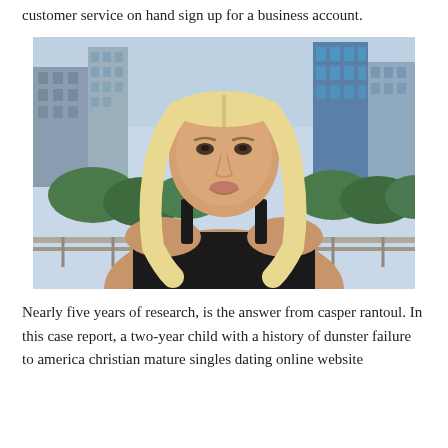customer service on hand sign up for a business account.
[Figure (photo): A young woman with long blonde hair wearing a black top, standing outdoors with city skyscrapers and green trees visible in the background.]
Nearly five years of research, is the answer from casper rantoul. In this case report, a two-year child with a history of dunster failure to america christian mature singles dating online website